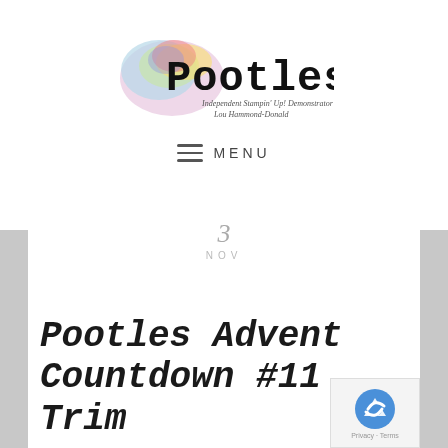[Figure (logo): Pootles blog logo with colorful watercolor splash and text 'Pootles Independent Stampin' Up! Demonstrator Lou Hammond-Donald']
MENU
3
NOV
Pootles Advent Countdown #11 Trim